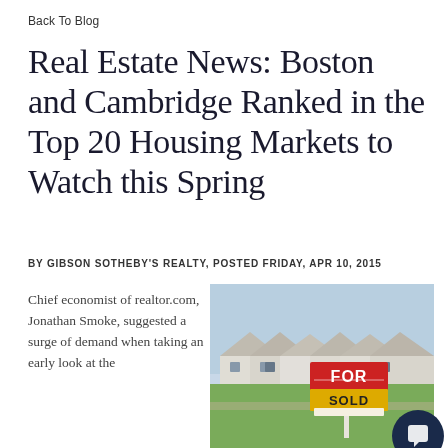Back To Blog
Real Estate News: Boston and Cambridge Ranked in the Top 20 Housing Markets to Watch this Spring
BY GIBSON SOTHEBY'S REALTY, POSTED FRIDAY, APR 10, 2015
Chief economist of realtor.com, Jonathan Smoke, suggested a surge of demand when taking an early look at the
[Figure (photo): Photo of suburban houses with a FOR SALE / SOLD sign in the foreground on a lawn.]